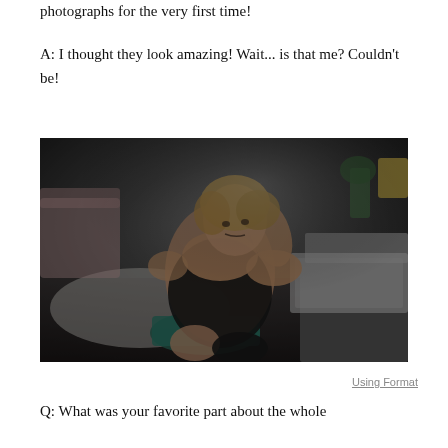photographs for the very first time!
A: I thought they look amazing! Wait... is that me? Couldn't be!
[Figure (photo): Boudoir-style photograph of a blonde woman in a black outfit sitting on a tufted green chair, leaning against a bed with fur blanket, moody dark interior setting]
Using Format
Q: What was your favorite part about the whole